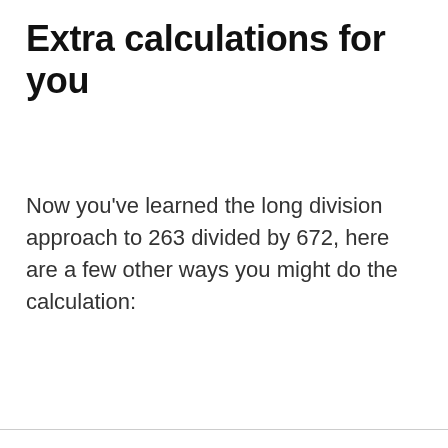Extra calculations for you
Now you've learned the long division approach to 263 divided by 672, here are a few other ways you might do the calculation: